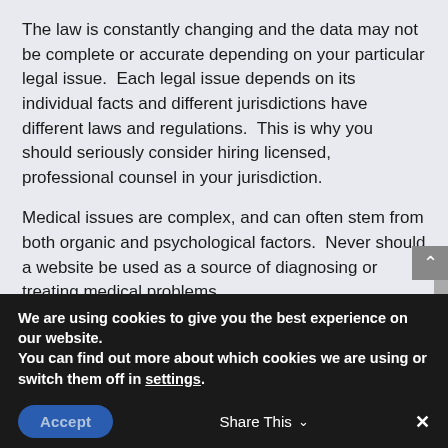The law is constantly changing and the data may not be complete or accurate depending on your particular legal issue.  Each legal issue depends on its individual facts and different jurisdictions have different laws and regulations.  This is why you should seriously consider hiring licensed, professional counsel in your jurisdiction.
Medical issues are complex, and can often stem from both organic and psychological factors.  Never should a website be used as a source of diagnosing or treating medical problems.
Financial matters are highly individualistic.  Risk
We are using cookies to give you the best experience on our website.
You can find out more about which cookies we are using or switch them off in settings.
Accept
Share This